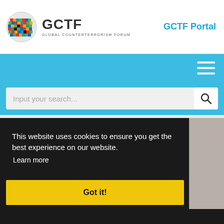[Figure (logo): GCTF Global Counterterrorism Forum logo with globe icon]
GCTF Portal
[Figure (other): Blue navigation bar with hamburger menu icon]
[Figure (other): Search bar with placeholder text 'Input your search...' and magnifying glass icon]
This website uses cookies to ensure you get the best experience on our website.
Learn more
Got it!